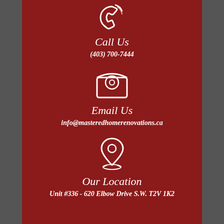[Figure (illustration): White phone/handset icon on dark red background]
Call Us
(403) 700-7444
[Figure (illustration): White email/envelope with @ symbol icon on dark red background]
Email Us
info@masteredhomerenovations.ca
[Figure (illustration): White location pin/map marker icon on dark red background]
Our Location
Unit #336 - 620 Elbow Drive S.W. T2V 1K2